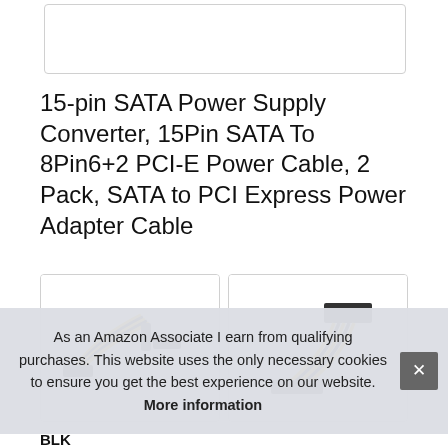[Figure (photo): White empty image box at top of page]
15-pin SATA Power Supply Converter, 15Pin SATA To 8Pin6+2 PCI-E Power Cable, 2 Pack, SATA to PCI Express Power Adapter Cable
[Figure (photo): Two product images side by side showing yellow and black SATA to PCI-E power cables]
BLK
As an Amazon Associate I earn from qualifying purchases. This website uses the only necessary cookies to ensure you get the best experience on our website. More information